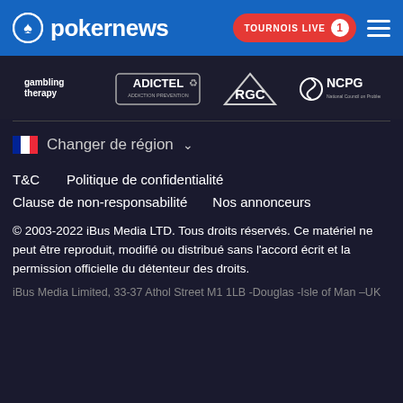pokernews — TOURNOIS LIVE 1
[Figure (logo): Row of partner logos: gambling therapy, ADICTEL, RGC, NCPG]
Changer de région
T&C    Politique de confidentialité
Clause de non-responsabilité    Nos annonceurs
© 2003-2022 iBus Media LTD. Tous droits réservés. Ce matériel ne peut être reproduit, modifié ou distribué sans l'accord écrit et la permission officielle du détenteur des droits.
iBus Media Limited, 33-37 Athol Street M1 1LB -Douglas -Isle of Man –UK